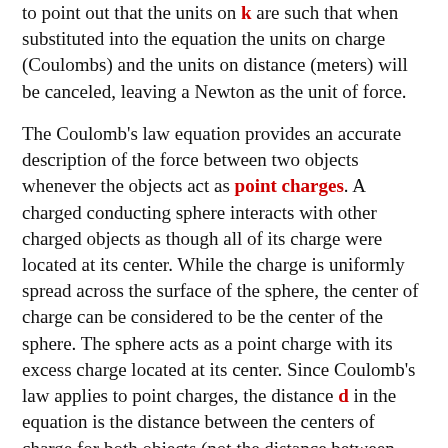to point out that the units on k are such that when substituted into the equation the units on charge (Coulombs) and the units on distance (meters) will be canceled, leaving a Newton as the unit of force.
The Coulomb's law equation provides an accurate description of the force between two objects whenever the objects act as point charges. A charged conducting sphere interacts with other charged objects as though all of its charge were located at its center. While the charge is uniformly spread across the surface of the sphere, the center of charge can be considered to be the center of the sphere. The sphere acts as a point charge with its excess charge located at its center. Since Coulomb's law applies to point charges, the distance d in the equation is the distance between the centers of charge for both objects (not the distance between their nearest surfaces).
The symbols Q1 and Q2 in the Coulomb's law equation represent the quantities of charge on the two interacting objects. Since an object can be charged positively or negatively, these quantities are often expressed as "+" or "-" values. The sign on the charge is simply representative of